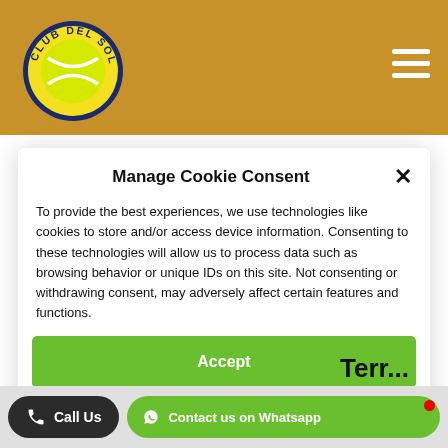[Figure (logo): Club Del Sol tennis club logo: circular badge with yellow tennis ball and dark blue text 'CLUB DEL SOL' around it, on a golden/tan background header]
Manage Cookie Consent
To provide the best experiences, we use technologies like cookies to store and/or access device information. Consenting to these technologies will allow us to process data such as browsing behavior or unique IDs on this site. Not consenting or withdrawing consent, may adversely affect certain features and functions.
Accept
Deny
Cookie Policy
Call Us
Contact us on Whatsapp
Terrace Bar